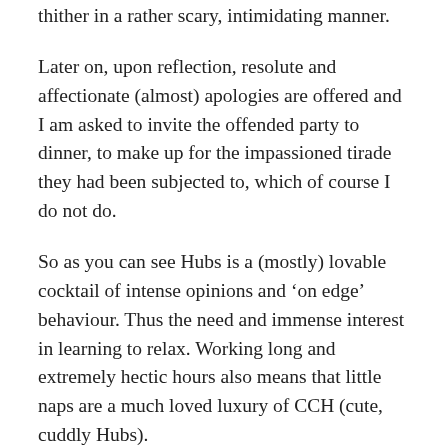thither in a rather scary, intimidating manner.
Later on, upon reflection, resolute and affectionate (almost) apologies are offered and I am asked to invite the offended party to dinner, to make up for the impassioned tirade they had been subjected to, which of course I do not do.
So as you can see Hubs is a (mostly) lovable cocktail of intense opinions and ‘on edge’ behaviour. Thus the need and immense interest in learning to relax. Working long and extremely hectic hours also means that little naps are a much loved luxury of CCH (cute, cuddly Hubs).
So far, the only unusual aspect of his napping has been his tendency to feel sleepy when he’s driving. This is partly a result of his waking up extremely early and partly (I think) due to the fact that the moving motion of the car lulls him into a state of relaxation. I feel very nervous when I see